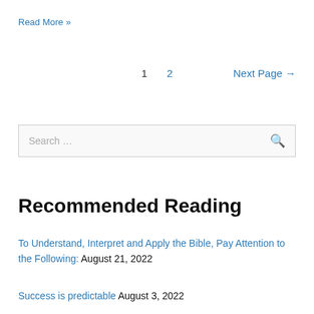Read More »
1  2  Next Page →
Search …
Recommended Reading
To Understand, Interpret and Apply the Bible, Pay Attention to the Following: August 21, 2022
Success is predictable August 3, 2022